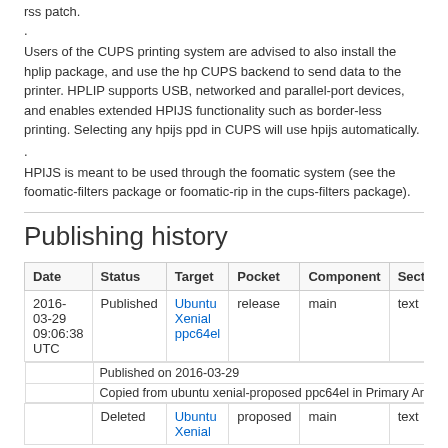rss patch.
.
Users of the CUPS printing system are advised to also install the hplip package, and use the hp CUPS backend to send data to the printer. HPLIP supports USB, networked and parallel-port devices, and enables extended HPIJS functionality such as border-less printing. Selecting any hpijs ppd in CUPS will use hpijs automatically.
.
HPIJS is meant to be used through the foomatic system (see the foomatic-filters package or foomatic-rip in the cups-filters package).
Publishing history
| Date | Status | Target | Pocket | Component | Section | Priority | P |
| --- | --- | --- | --- | --- | --- | --- | --- |
| 2016-03-29 09:06:38 UTC | Published | Ubuntu Xenial ppc64el | release | main | text | Optional |  |
|  | Deleted | Ubuntu Xenial | proposed | main | text | Optional |  |
Published on 2016-03-29
Copied from ubuntu xenial-proposed ppc64el in Primary Archive for Ubuntu